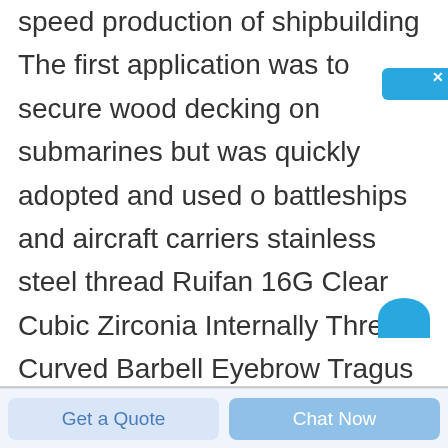speed production of shipbuilding The first application was to secure wood decking on submarines but was quickly adopted and used on battleships and aircraft carriers stainless steel thread Ruifan 16G Clear Cubic Zirconia Internally Thread Curved Barbell Eyebrow Tragus Ring Piercing Jewelry 6 10mm 4 2 out of 5 stars 2 117 7 99 7 99 Fully Threaded Rods amp Studs Sewing Thread Screws Tools amp Home Improvement Beading amp Jewelry Making Jewelry Making Findings
[Figure (other): Blue online consultation widget with Chinese characters 在线咨询 (online consultation) and a close X button in the top right corner]
[Figure (other): Partial blue circular icon at the bottom right of the content area]
Get a Quote   Chat Now